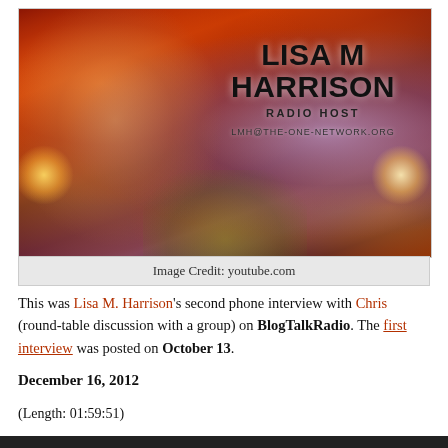[Figure (photo): Promotional banner for Lisa M. Harrison, Radio Host. Shows a woman's face on a cosmic/fiery orange and purple background. Text reads: LISA M HARRISON, RADIO HOST, LMH@THE-ONE-NETWORK.ORG]
Image Credit: youtube.com
This was Lisa M. Harrison's second phone interview with Chris (round-table discussion with a group) on BlogTalkRadio. The first interview was posted on October 13.
December 16, 2012
(Length: 01:59:51)